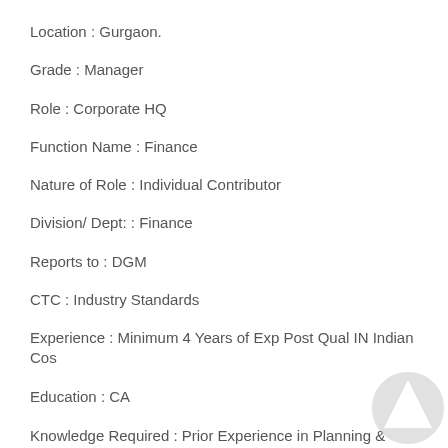Location : Gurgaon.
Grade : Manager
Role : Corporate HQ
Function Name : Finance
Nature of Role : Individual Contributor
Division/ Dept: : Finance
Reports to : DGM
CTC : Industry Standards
Experience : Minimum 4 Years of Exp Post Qual IN Indian Cos
Education : CA
Knowledge Required : Prior Experience in Planning & Analysis Profiles ; 3 years of Experience in Planning & Analyst background